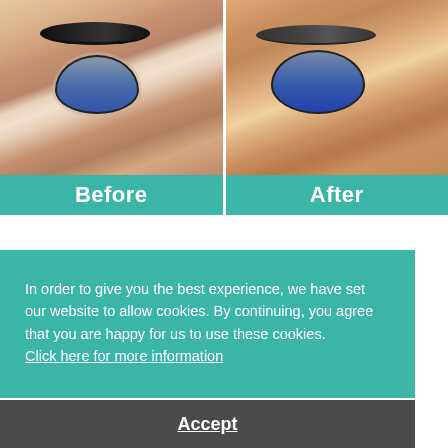[Figure (photo): Before and after comparison photos of a person's eye area. Left panel shows 'Before' with visible wrinkles and mascara-lined eye. Right panel shows 'After' with similar eye close-up. Each panel has a teal label bar at the bottom reading 'Before' and 'After' respectively.]
In order to give you the best experience, we have set our website to allow cookies. By continuing, you agree that you are happy for us to use these cookies.
Click here for more information
Accept